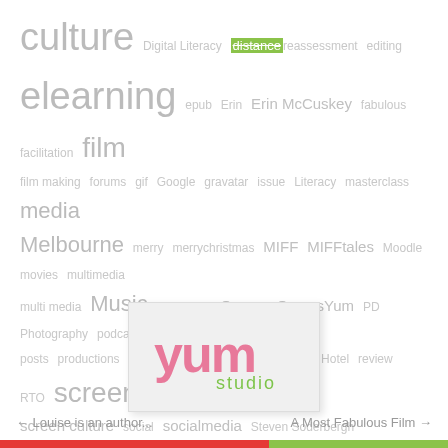[Figure (infographic): Tag cloud with words of varying sizes in light gray, including: culture, Digital Literacy, distance, reassessment, editing, elearning, epub, Erin, Erin McCuskey, fabulous, facilitation, film, film making, forums, gif, Google, gravatar, issue, Literacy, masterclass, media, Melbourne, merry, merrychristmas, MIFF, MIFFtales, Moodle, movies, multimedia, multi media, Music, Numeracy, Oscars, OscarsYum, PD, Photography, podcast, posts, productions, projects, publishing, Radio Springs Hotel, review, RTO, screen, screen culture, social, socialmedia, Steven Soderbergh, The Good German, training, TV, Twitter, Underground Cinema, Victorian Women in ICT, web 2, writing, Yum, Yum Studio]
[Figure (logo): Yum Studio logo — stylized 'yum' lettering in pink/coral with 'studio' in green below, set on light gray card background]
← Louise is an author...    A Most Fabulous Film →